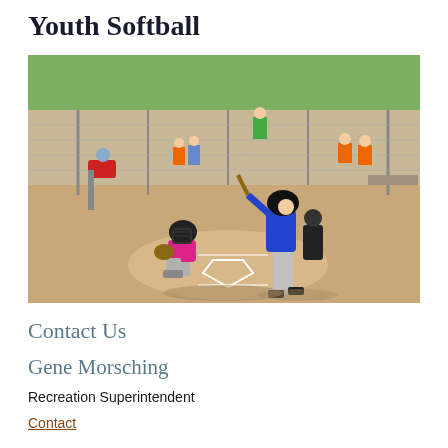Youth Softball
[Figure (photo): Youth softball game showing a catcher in pink and helmet crouching behind home plate and a batter in blue uniform ready to bat, with spectators and chain-link fence in background on a sunny day]
Contact Us
Gene Morsching
Recreation Superintendent
Contact